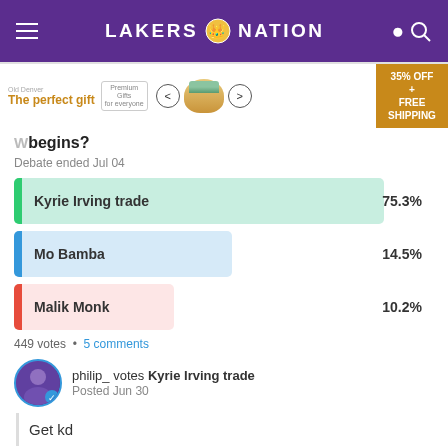LAKERS NATION
[Figure (screenshot): Advertisement banner for a gift product, showing brand logo, text 'The perfect gift', navigation arrows, a bowl image, and '35% OFF + FREE SHIPPING' promotion]
begins?
Debate ended Jul 04
[Figure (bar-chart): Poll results]
449 votes • 5 comments
philip_ votes Kyrie Irving trade
Posted Jun 30
Get kd